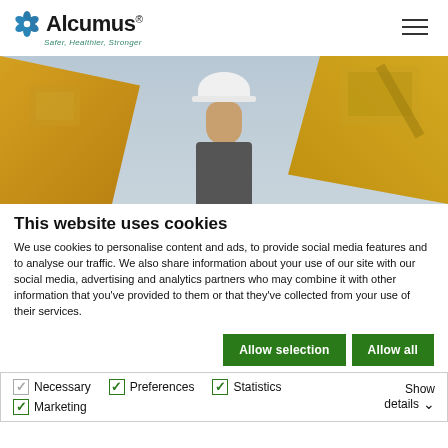[Figure (logo): Alcumus logo with blue flower icon and tagline 'Safer, Healthier, Stronger']
[Figure (photo): Worker wearing white hard hat in front of yellow construction machinery]
This website uses cookies
We use cookies to personalise content and ads, to provide social media features and to analyse our traffic. We also share information about your use of our site with our social media, advertising and analytics partners who may combine it with other information that you've provided to them or that they've collected from your use of their services.
Allow selection | Allow all
Necessary | Preferences | Statistics | Marketing | Show details